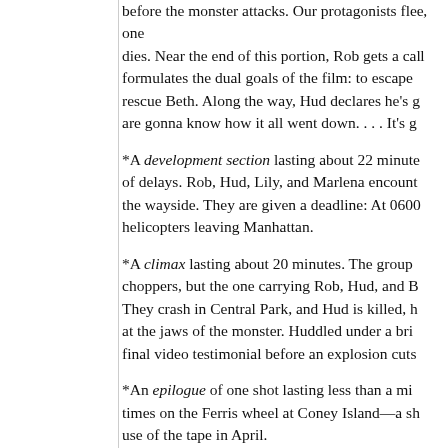...camp lasting about 20 minutes. We are introduced before the monster attacks. Our protagonists flee, one dies. Near the end of this portion, Rob gets a call and formulates the dual goals of the film: to escape and to rescue Beth. Along the way, Hud declares he's gonna know how it all went down. . . . It's g...
*A development section lasting about 22 minutes, full of delays. Rob, Hud, Lily, and Marlena encounter delays at the wayside. They are given a deadline: At 0600 there are helicopters leaving Manhattan.
*A climax lasting about 20 minutes. The group boards choppers, but the one carrying Rob, Hud, and B... They crash in Central Park, and Hud is killed, h... at the jaws of the monster. Huddled under a bri... final video testimonial before an explosion cuts...
*An epilogue of one shot lasting less than a min... times on the Ferris wheel at Coney Island—a sh... use of the tape in April.